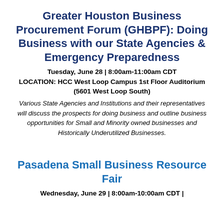Greater Houston Business Procurement Forum (GHBPF): Doing Business with our State Agencies & Emergency Preparedness
Tuesday, June 28 | 8:00am-11:00am CDT
LOCATION: HCC West Loop Campus 1st Floor Auditorium
(5601 West Loop South)
Various State Agencies and Institutions and their representatives will discuss the prospects for doing business and outline business opportunities for Small and Minority owned businesses and Historically Underutilized Businesses.
Pasadena Small Business Resource Fair
Wednesday, June 29 | 8:00am-10:00am CDT |